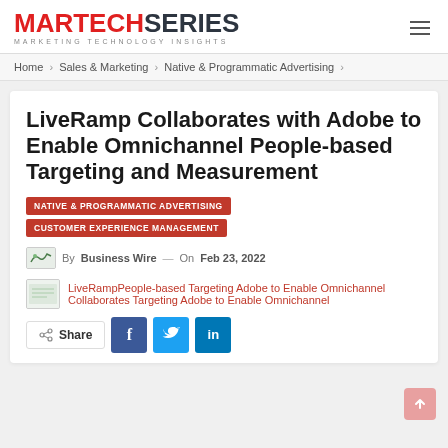MARTECHSERIES MARKETING TECHNOLOGY INSIGHTS
Home > Sales & Marketing > Native & Programmatic Advertising >
LiveRamp Collaborates with Adobe to Enable Omnichannel People-based Targeting and Measurement
NATIVE & PROGRAMMATIC ADVERTISING
CUSTOMER EXPERIENCE MANAGEMENT
By Business Wire — On Feb 23, 2022
LiveRamp Collaborates Targeting Adobe to Enable Omnichannel People-based Targeting and Measurement
Share